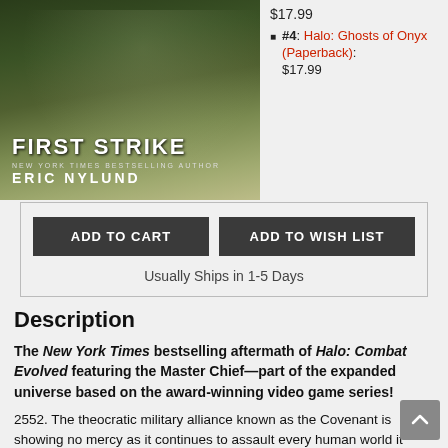[Figure (photo): Book cover of 'First Strike' by Eric Nylund, New York Times Bestselling Author, dark green/military themed background]
$17.99
#4: Halo: Ghosts of Onyx (Paperback): $17.99
ADD TO CART   ADD TO WISH LIST
Usually Ships in 1-5 Days
Description
The New York Times bestselling aftermath of Halo: Combat Evolved featuring the Master Chief—part of the expanded universe based on the award-winning video game series!
2552. The theocratic military alliance known as the Covenant is showing no mercy as it continues to assault every human world it encounters, but in the way lies humanity's greatest champion,